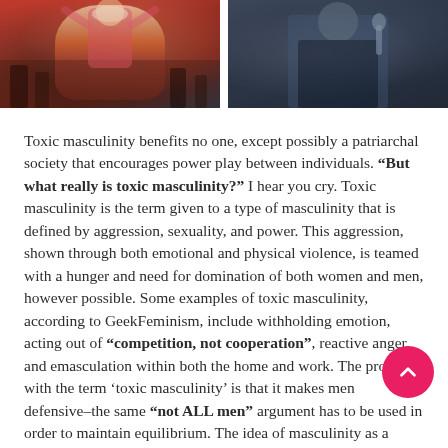[Figure (photo): Two photos side by side: left shows a woman in a pink coat with arms raised at a protest; right shows a man in a dark jacket.]
Toxic masculinity benefits no one, except possibly a patriarchal society that encourages power play between individuals. “But what really is toxic masculinity?” I hear you cry. Toxic masculinity is the term given to a type of masculinity that is defined by aggression, sexuality, and power. This aggression, shown through both emotional and physical violence, is teamed with a hunger and need for domination of both women and men, however possible. Some examples of toxic masculinity, according to GeekFeminism, include withholding emotion, acting out of “competition, not cooperation”, reactive anger and emasculation within both the home and work. The problem with the term ‘toxic masculinity’ is that it makes men defensive–the same “not ALL men” argument has to be used in order to maintain equilibrium. The idea of masculinity as a whole is intrinsic to what it means to “be a man”, so much so that it becomes an act rather than just an identity. Men live up to this act in order to “be a man”, rather than just… being a man–regardless of social